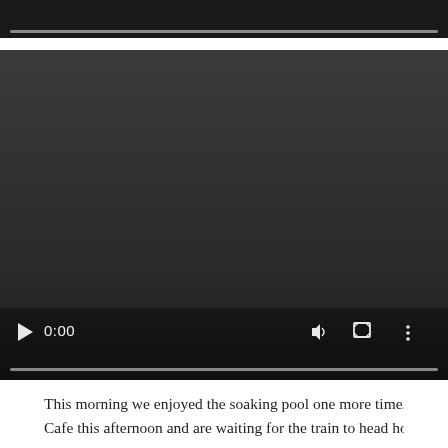[Figure (screenshot): Video player (top portion, partially visible) showing a dark background with a progress/seek bar near the bottom.]
[Figure (screenshot): Video player showing a dark gray background with playback controls at the bottom: play button, time display showing 0:00, volume icon, fullscreen icon, and more options icon, with a progress bar.]
This morning we enjoyed the soaking pool one more time. We h Cafe this afternoon and are waiting for the train to head home. D